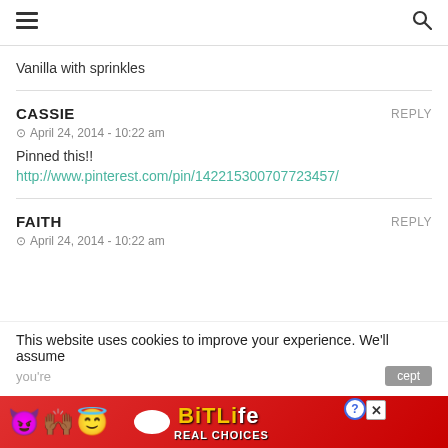≡  🔍
Vanilla with sprinkles
CASSIE
April 24, 2014 - 10:22 am
Pinned this!!
http://www.pinterest.com/pin/142215300707723457/
FAITH
April 24, 2014 - 10:22 am
This website uses cookies to improve your experience. We'll assume
[Figure (other): BitLife Real Choices advertisement banner with emoji characters on red background]